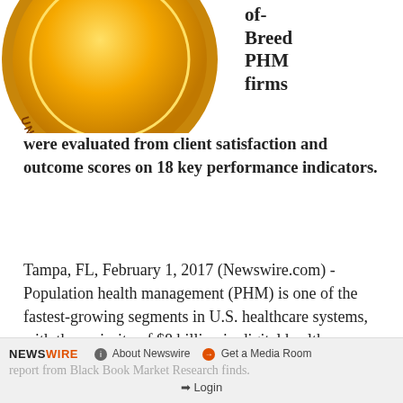[Figure (illustration): Gold medal/badge with text 'UNBIASED SOURCE' around the rim, partially cropped at top]
of-Breed PHM firms
were evaluated from client satisfaction and outcome scores on 18 key performance indicators.
Tampa, FL, February 1, 2017 (Newswire.com) -Population health management (PHM) is one of the fastest-growing segments in U.S. healthcare systems, with the majority of $8 billion in digital health investments during 2016 going to investments to support complex PHM initiatives, a new report from Black Book Market Research finds.
NEWSWIRE  About Newswire  Get a Media Room  Login